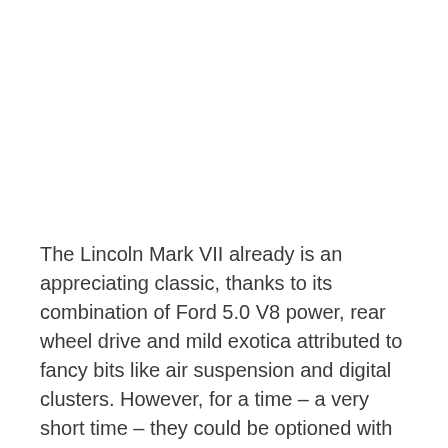The Lincoln Mark VII already is an appreciating classic, thanks to its combination of Ford 5.0 V8 power, rear wheel drive and mild exotica attributed to fancy bits like air suspension and digital clusters. However, for a time – a very short time – they could be optioned with a 2.4L diesel made by none other than BMW. Find this rare diesel-equipped example here on craigslist for $1,500.